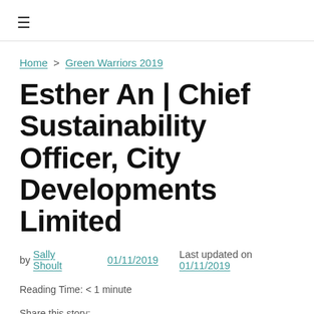≡
Home > Green Warriors 2019
Esther An | Chief Sustainability Officer, City Developments Limited
by Sally Shoult   01/11/2019   Last updated on 01/11/2019
Reading Time: < 1 minute
Share this story: